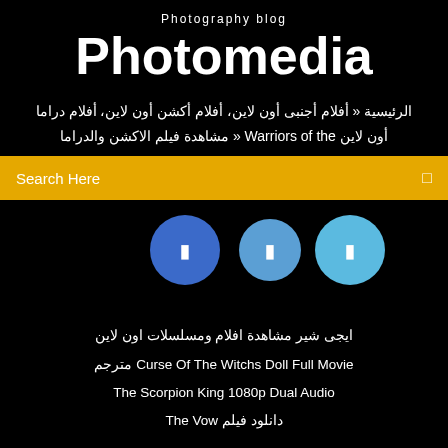Photography blog
Photomedia
الرئيسية » أفلام أجنبى أون لاين، أفلام أكشن أون لاين، أفلام دراما أون لاين Warriors of the » مشاهدة فيلم الاكشن والدراما
Search Here
[Figure (screenshot): Three social media circle icon buttons in blue shades]
ايجى شير مشاهدة افلام ومسلسلات اون لاين
Curse Of The Witchs Doll Full Movie مترجم
The Scorpion King 1080p Dual Audio
دانلود فيلم The Vow